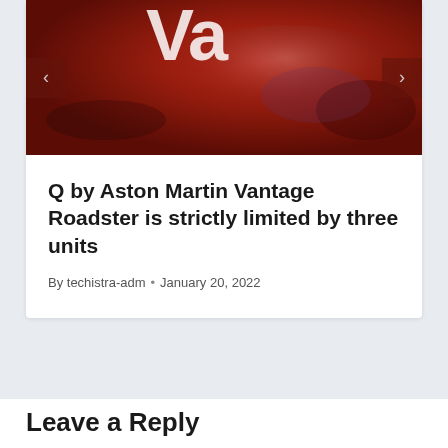[Figure (photo): Close-up photo of a red Aston Martin Vantage car badge/logo on the car body, with navigation arrows on left and right sides.]
Q by Aston Martin Vantage Roadster is strictly limited by three units
By techistra-adm • January 20, 2022
Leave a Reply